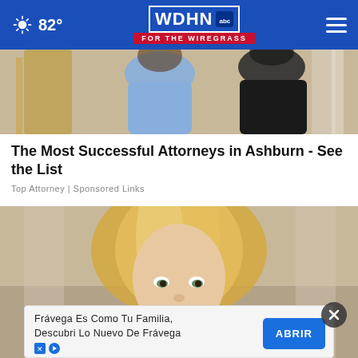WDHN abc FOR THE WIREGRASS | 82°
[Figure (photo): Partial view of two people, one in a blue dress and one in a dark suit, in an indoor setting]
The Most Successful Attorneys in Ashburn - See the List
Top Attorney | Sponsored Links
[Figure (photo): Close-up portrait of a blonde woman looking at the camera, outdoors with blurred background]
Frávega Es Como Tu Familia, Descubri Lo Nuevo De Frávega ABRIR